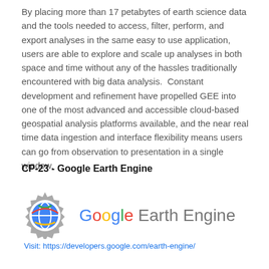By placing more than 17 petabytes of earth science data and the tools needed to access, filter, perform, and export analyses in the same easy to use application, users are able to explore and scale up analyses in both space and time without any of the hassles traditionally encountered with big data analysis.  Constant development and refinement have propelled GEE into one of the most advanced and accessible cloud-based geospatial analysis platforms available, and the near real time data ingestion and interface flexibility means users can go from observation to presentation in a single window.
CP-23 - Google Earth Engine
[Figure (logo): Google Earth Engine logo with gear icon and colorful Google Earth Engine text, with visit URL below]